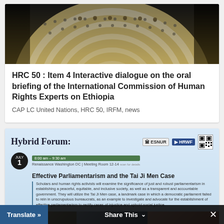[Figure (photo): Aerial view of a circular UN chamber with delegates seated at curved rows of desks]
HRC 50 : Item 4 Interactive dialogue on the oral briefing of the International Commission of Human Rights Experts on Ethiopia
CAP LC United Nations, HRC 50, IRFM, news
[Figure (infographic): Hybrid Forum event flyer for Effective Parliamentarism and the Tai Ji Men Case, July 1, 8:00am–9:30am, Renaissance Washington DC, Meeting Room 12-14, with ESNUR and HRWF logos and QR code]
Translate »   Share This   ×